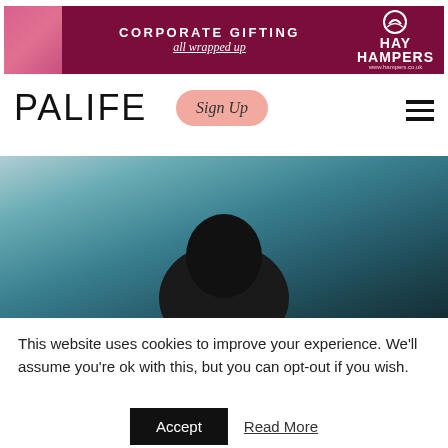[Figure (photo): Hay Hampers corporate gifting banner advertisement with pink gift box on dark pink/maroon background and logo]
PALIFE
[Figure (photo): Sign Up button with salmon/pink rounded background in script font]
[Figure (photo): Hero image showing a dark silhouette of a person against a teal/blue textured background]
This website uses cookies to improve your experience. We'll assume you're ok with this, but you can opt-out if you wish.
Accept   Read More